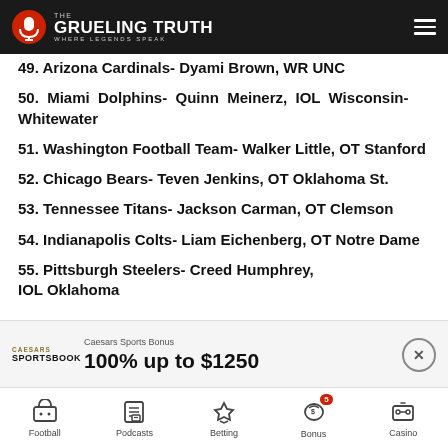The Grueling Truth — Where Legends Speak
49. Arizona Cardinals- Dyami Brown, WR UNC
50. Miami Dolphins- Quinn Meinerz, IOL Wisconsin-Whitewater
51. Washington Football Team- Walker Little, OT Stanford
52. Chicago Bears- Teven Jenkins, OT Oklahoma St.
53. Tennessee Titans- Jackson Carman, OT Clemson
54. Indianapolis Colts- Liam Eichenberg, OT Notre Dame
55. Pittsburgh Steelers- Creed Humphrey, IOL Oklahoma
Caesars Sports Bonus — 100% up to $1250
Football | Podcasts | Betting | Bonus 5 | Casino